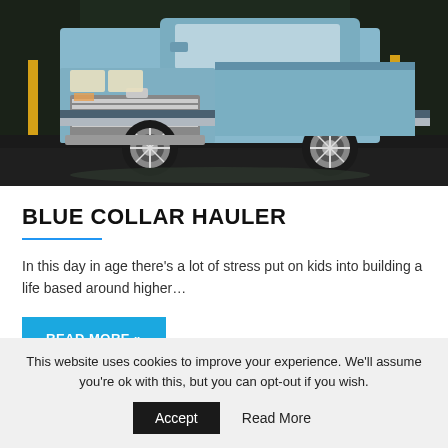[Figure (photo): A light blue classic Chevrolet square-body pickup truck parked inside a garage or warehouse, shot from a front three-quarter angle. The truck has custom chrome wheels, a chrome grille, and yellow safety bollards are visible in the background.]
BLUE COLLAR HAULER
In this day in age there's a lot of stress put on kids into building a life based around higher…
READ MORE »
This website uses cookies to improve your experience. We'll assume you're ok with this, but you can opt-out if you wish.
Accept   Read More